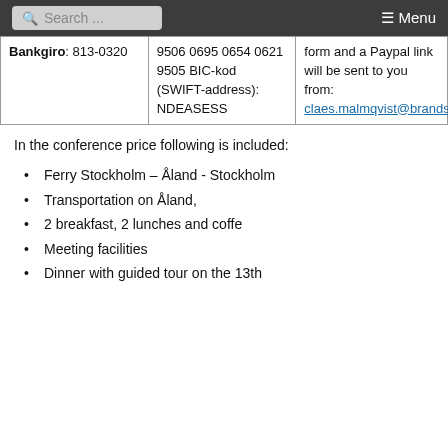Search ... Menu
| Bankgiro: 813-0320 | 9506 0695 0654 0621 9505 BIC-kod (SWIFT-address): NDEASESS | form and a Paypal link will be sent to you from: claes.malmqvist@brandskyddslaget.se |
In the conference price following is included:
Ferry Stockholm – Åland - Stockholm
Transportation on Åland,
2 breakfast, 2 lunches and coffe
Meeting facilities
Dinner with guided tour on the 13th